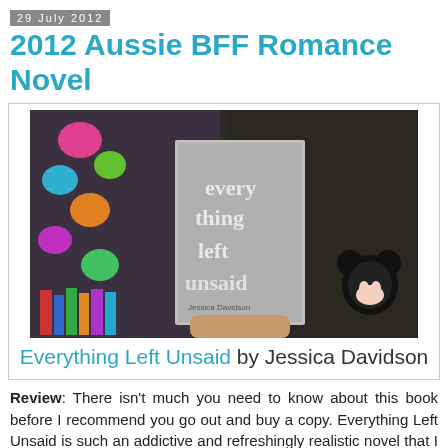29 July 2012
2012 Aussie BFF Romance Novel
[Figure (photo): Photo of a person holding a book titled 'everything left unsaid' by Jessica Davidson, in front of a bookshelf with colorful decorations and a Mickey Mouse plush.]
Everything Left Unsaid by Jessica Davidson
Review: There isn't much you need to know about this book before I recommend you go out and buy a copy. Everything Left Unsaid is such an addictive and refreshingly realistic novel that I feel it could be enjoyed by almost anyone.
Tai and Juliet have been best friends since kindy, but only